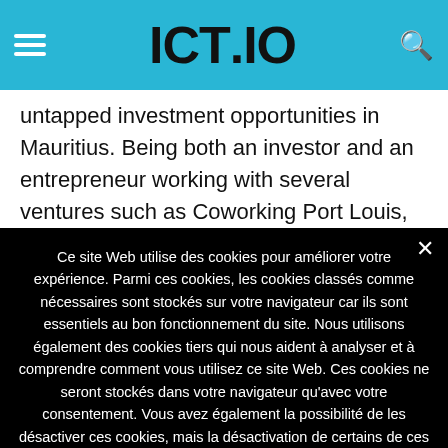ICT.IO
untapped investment opportunities in Mauritius. Being both an investor and an entrepreneur working with several ventures such as Coworking Port Louis, Michel recognized that many people do have innovative ideas. Unfortunately, in most cases those people do not
Ce site Web utilise des cookies pour améliorer votre expérience. Parmi ces cookies, les cookies classés comme nécessaires sont stockés sur votre navigateur car ils sont essentiels au bon fonctionnement du site. Nous utilisons également des cookies tiers qui nous aident à analyser et à comprendre comment vous utilisez ce site Web. Ces cookies ne seront stockés dans votre navigateur qu'avec votre consentement. Vous avez également la possibilité de les désactiver ces cookies, mais la désactivation de certains de ces cookies peut avoir un effet sur votre expérience de navigation. Lire la suite   Je refuse   J'accepte
Personnaliser les Cookies